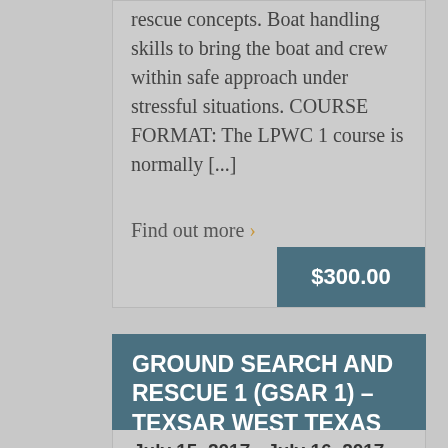rescue concepts. Boat handling skills to bring the boat and crew within safe approach under stressful situations. COURSE FORMAT: The LPWC 1 course is normally [...]
Find out more ›
$300.00
GROUND SEARCH AND RESCUE 1 (GSAR 1) – TEXSAR West Texas
July 15, 2017 - July 16, 2017